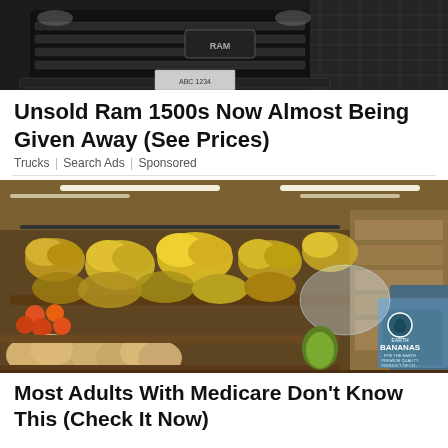[Figure (photo): Front grille and bumper of a dark Ram 1500 truck, shot from low angle, dark background]
Unsold Ram 1500s Now Almost Being Given Away (See Prices)
Trucks | Search Ads | Sponsored
[Figure (photo): Interior of a grocery store produce section showing multiple bunches of bananas hanging from displays, melons and other fruits on tables, with a cardboard box labeled EARTH BANANAS PREMIUM QUALITY in the foreground]
Most Adults With Medicare Don't Know This (Check It Now)